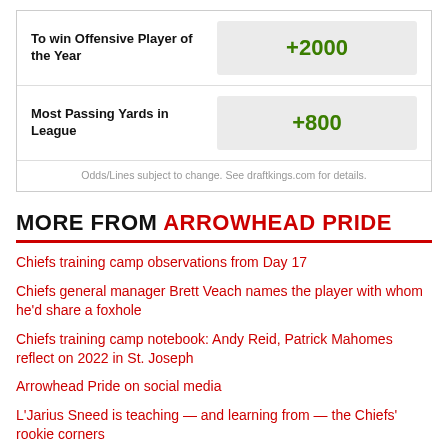| Bet Type | Odds |
| --- | --- |
| To win Offensive Player of the Year | +2000 |
| Most Passing Yards in League | +800 |
Odds/Lines subject to change. See draftkings.com for details.
MORE FROM ARROWHEAD PRIDE
Chiefs training camp observations from Day 17
Chiefs general manager Brett Veach names the player with whom he'd share a foxhole
Chiefs training camp notebook: Andy Reid, Patrick Mahomes reflect on 2022 in St. Joseph
Arrowhead Pride on social media
L'Jarius Sneed is teaching — and learning from — the Chiefs' rookie corners